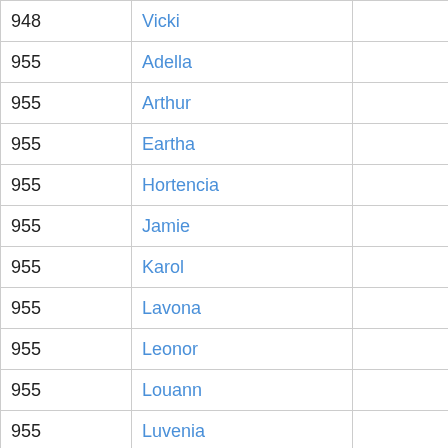| 948 | Vicki | 53 |
| 955 | Adella | 52 |
| 955 | Arthur | 52 |
| 955 | Eartha | 52 |
| 955 | Hortencia | 52 |
| 955 | Jamie | 52 |
| 955 | Karol | 52 |
| 955 | Lavona | 52 |
| 955 | Leonor | 52 |
| 955 | Louann | 52 |
| 955 | Luvenia | 52 |